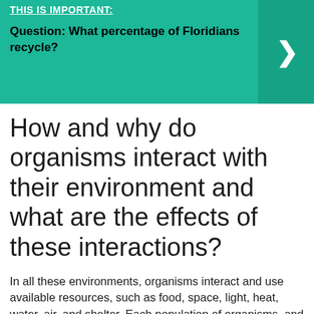THIS IS IMPORTANT:
Question: What percentage of Floridians recycle?
How and why do organisms interact with their environment and what are the effects of these interactions?
In all these environments, organisms interact and use available resources, such as food, space, light, heat, water, air, and shelter. Each population of organisms, and the individuals within it, interact in specific ways that are limited by and can benefit from other organisms.